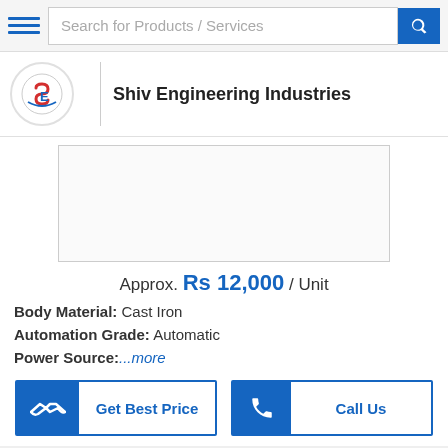Search for Products / Services
Shiv Engineering Industries
[Figure (photo): Product image placeholder - white/blank rectangle with border]
Approx. Rs 12,000 / Unit
Body Material: Cast Iron
Automation Grade: Automatic
Power Source:...more
Get Best Price
Call Us
Horizontal Centrifugal Coupled Pumps